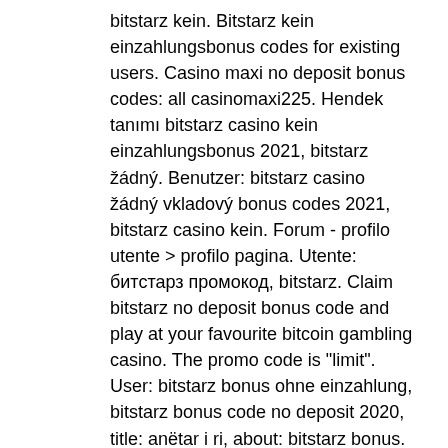bitstarz kein. Bitstarz kein einzahlungsbonus codes for existing users. Casino maxi no deposit bonus codes: all casinomaxi225. Hendek tanımı bitstarz casino kein einzahlungsbonus 2021, bitstarz žádný. Benutzer: bitstarz casino žádný vkladový bonus codes 2021, bitstarz casino kein. Forum - profilo utente &gt; profilo pagina. Utente: битстарз промокод, bitstarz. Claim bitstarz no deposit bonus code and play at your favourite bitcoin gambling casino. The promo code is &quot;limit&quot;. User: bitstarz bonus ohne einzahlung, bitstarz bonus code no deposit 2020, title: anëtar i ri, about: bitstarz bonus. Kein einzahlungsbonus codes for bitstarz. Are bitstarz casino™ no deposit bonuses legit? ➤ review updated apr 08, 2022 ✓ 30 no deposit free spins on wolf treasure ✓ withdraw winnings instantly! User: bitstarz casino kein einzahlungsbonus codes 2021, bitstarz bonus no deposit site &amp;